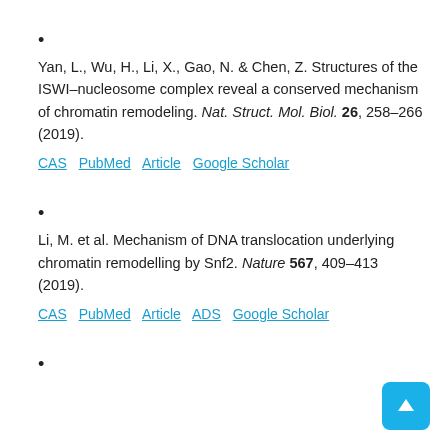•
Yan, L., Wu, H., Li, X., Gao, N. & Chen, Z. Structures of the ISWI–nucleosome complex reveal a conserved mechanism of chromatin remodeling. Nat. Struct. Mol. Biol. 26, 258–266 (2019).
CAS  PubMed  Article  Google Scholar
•
Li, M. et al. Mechanism of DNA translocation underlying chromatin remodelling by Snf2. Nature 567, 409–413 (2019).
CAS  PubMed  Article  ADS  Google Scholar
•